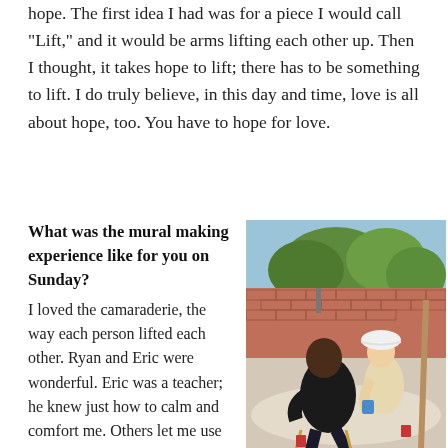hope. The first idea I had was for a piece I would call “Lift,” and it would be arms lifting each other up. Then I thought, it takes hope to lift; there has to be something to lift. I do truly believe, in this day and time, love is all about hope, too. You have to hope for love.
What was the mural making experience like for you on Sunday?
I loved the camaraderie, the way each person lifted each other. Ryan and Eric were wonderful. Eric was a teacher; he knew just how to calm and comfort me. Others let me use their materials; I
[Figure (photo): Outdoor photo of people working on a mural. A person in a black shirt sits on a chair while another person in a white hat assists them. Trees and a brick wall are visible in the background.]